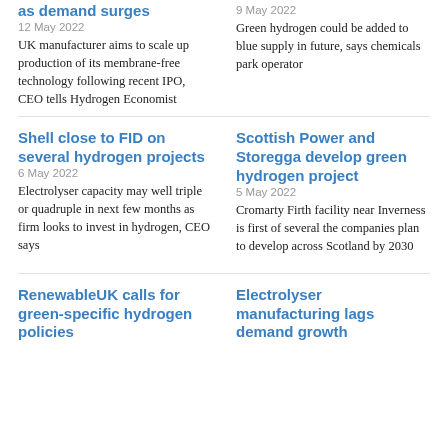as demand surges
12 May 2022
UK manufacturer aims to scale up production of its membrane-free technology following recent IPO, CEO tells Hydrogen Economist
9 May 2022
Green hydrogen could be added to blue supply in future, says chemicals park operator
Shell close to FID on several hydrogen projects
6 May 2022
Electrolyser capacity may well triple or quadruple in next few months as firm looks to invest in hydrogen, CEO says
Scottish Power and Storegga develop green hydrogen project
5 May 2022
Cromarty Firth facility near Inverness is first of several the companies plan to develop across Scotland by 2030
RenewableUK calls for green-specific hydrogen policies
Electrolyser manufacturing lags demand growth